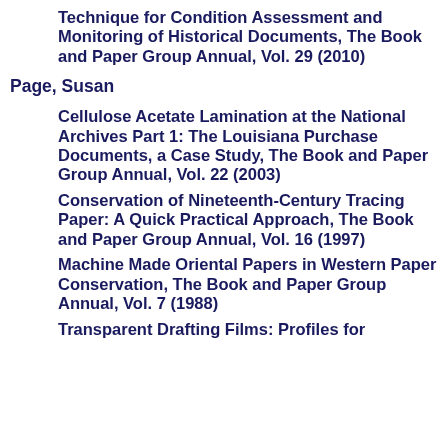Technique for Condition Assessment and Monitoring of Historical Documents, The Book and Paper Group Annual, Vol. 29 (2010)
Page, Susan
Cellulose Acetate Lamination at the National Archives Part 1: The Louisiana Purchase Documents, a Case Study, The Book and Paper Group Annual, Vol. 22 (2003)
Conservation of Nineteenth-Century Tracing Paper: A Quick Practical Approach, The Book and Paper Group Annual, Vol. 16 (1997)
Machine Made Oriental Papers in Western Paper Conservation, The Book and Paper Group Annual, Vol. 7 (1988)
Transparent Drafting Films: Profiles for